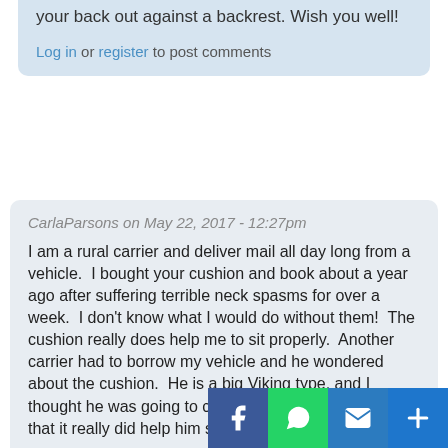comfortable is perfectly compatible with stretching your back out against a backrest. Wish you well!
Log in or register to post comments
CarlaParsons on May 22, 2017 - 12:27pm
I am a rural carrier and deliver mail all day long from a vehicle.  I bought your cushion and book about a year ago after suffering terrible neck spasms for over a week.  I don't know what I would do without them!  The cushion really does help me to sit properly.  Another carrier had to borrow my vehicle and he wondered about the cushion.  He is a big Viking type, and I thought he was going to complain about it, but he said that it really did help him sit up straight!
Log in or register to post comments
[Figure (other): Social share buttons: Facebook, WhatsApp, Email, More]